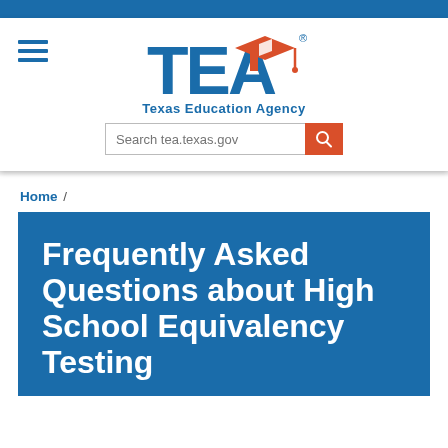[Figure (logo): Texas Education Agency (TEA) logo with graduation cap icon and agency name]
Search tea.texas.gov
Home /
Frequently Asked Questions about High School Equivalency Testing